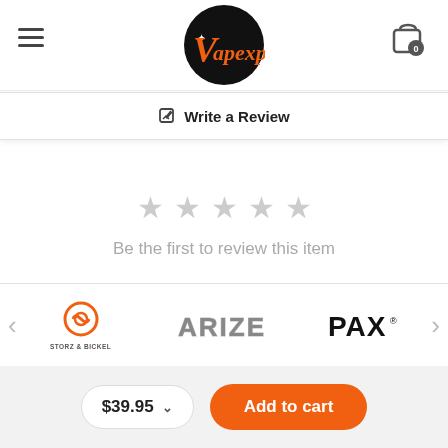[Figure (logo): Vapexperts logo — black circle with orange script text 'Vapexperts']
Write a Review
[Figure (infographic): Five empty grey star rating icons]
Be the first to review this item
[Figure (logo): Brand logos carousel: Storz & Bickel, Arizer, PAX]
$39.95
Add to cart